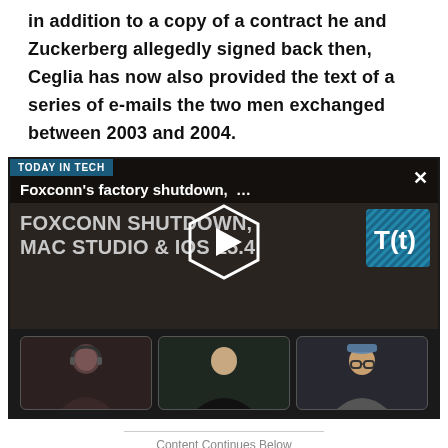in addition to a copy of a contract he and Zuckerberg allegedly signed back then, Ceglia has now also provided the text of a series of e-mails the two men exchanged between 2003 and 2004.
[Figure (screenshot): Video player embed titled 'TODAY IN TECH' showing 'Foxconn's factory shutdown, ...' with headline 'FOXCONN SHUTDOWN, MAC STUDIO & iOS 15.4', T(t) logo, play button, and three thumbnails of video participants]
Content Continues Below